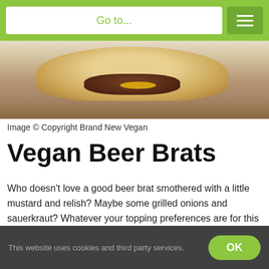Go to...
[Figure (photo): Close-up photo of a vegan beer brat sausage in a bun with mustard and toppings]
Image © Copyright Brand New Vegan
Vegan Beer Brats
Who doesn't love a good beer brat smothered with a little mustard and relish? Maybe some grilled onions and sauerkraut? Whatever your topping preferences are for this tasty vegan sausage, these brats from Brand New Vegan will be amazing at your next cookout! Get the recipe.
This website uses cookies and third party services.